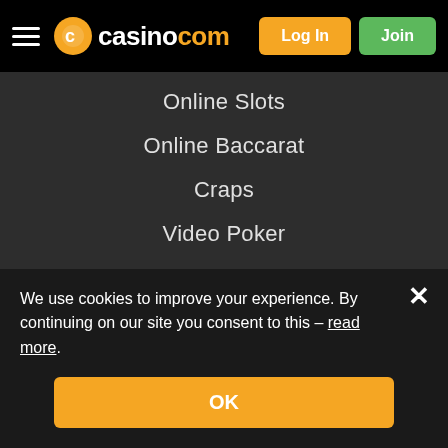casino.com — Log In | Join
Online Slots
Online Baccarat
Craps
Video Poker
Jackpots
Download Casino
Win Real Money
Software
Playtech
NetEnt
Blueprint
Pragmatic Play
We use cookies to improve your experience. By continuing on our site you consent to this – read more.